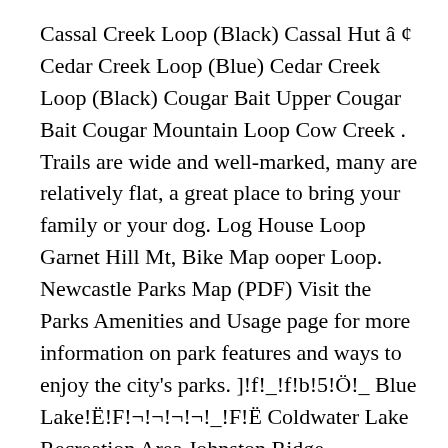Cassal Creek Loop (Black) Cassal Hut â ¢ Cedar Creek Loop (Blue) Cedar Creek Loop (Black) Cougar Bait Upper Cougar Bait Cougar Mountain Loop Cow Creek . Trails are wide and well-marked, many are relatively flat, a great place to bring your family or your dog. Log House Loop Garnet Hill Mt, Bike Map ooper Loop. Newcastle Parks Map (PDF) Visit the Parks Amenities and Usage page for more information on park features and ways to enjoy the city's parks. ]!f!_!f!b!5!Ö!_ Blue Lake!Ë!F!¬!¬!¬!¬!_!F!Ë Coldwater Lake Recreation Area Johnston Ridge Observatory 4314'!f!b! General Headquarters 536 North Harlem Avenue River Forest, IL 60305 (view map). Current Maps for 2013-2018: Newcastle has many parks and trails